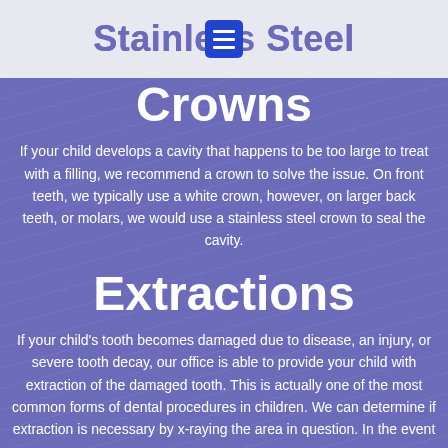Stainless Steel Crowns
Stainless Steel Crowns
If your child develops a cavity that happens to be too large to treat with a filling, we recommend a crown to solve the issue. On front teeth, we typically use a white crown, however, on larger back teeth, or molars, we would use a stainless steel crown to seal the cavity.
Extractions
If your child's tooth becomes damaged due to disease, an injury, or severe tooth decay, our office is able to provide your child with extraction of the damaged tooth. This is actually one of the most common forms of dental procedures in children. We can determine if extraction is necessary by x-raying the area in question. In the event